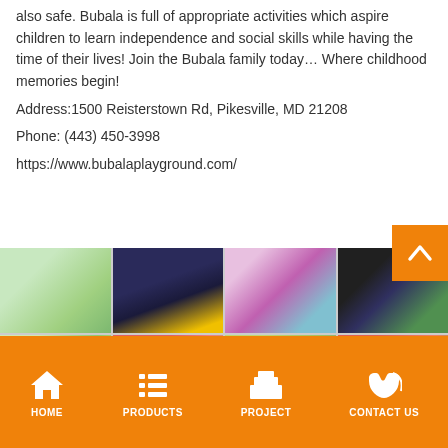also safe. Bubala is full of appropriate activities which aspire children to learn independence and social skills while having the time of their lives! Join the Bubala family today… Where childhood memories begin!
Address:1500 Reisterstown Rd, Pikesville, MD 21208
Phone: (443) 450-3998
https://www.bubalaplayground.com/
[Figure (photo): Grid of 8 photos showing interior of Bubala playground: colorful play equipment, a dark theater/party room with projection screen, play structures, children playing, balloon decorations, and activity areas.]
HOME  PRODUCTS  PROJECT  CONTACT US